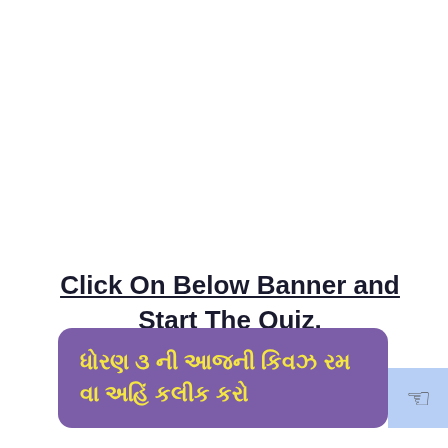Click On Below Banner and Start The Quiz.
ધોરણ ૩ ની આજની કિ​વઝ ​રમ​વા અહિં ​ક​લીક ​ક​રો